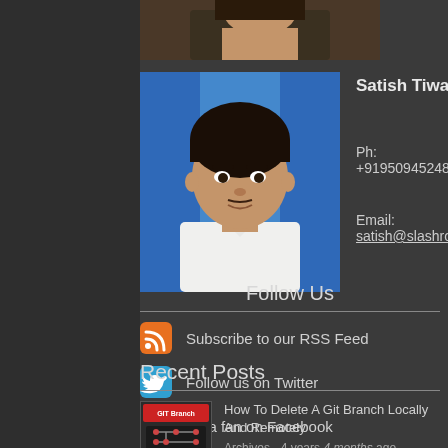[Figure (photo): Cropped top of a person's head/photo at top]
[Figure (photo): Profile photo of Satish Tiwary, a man in a white shirt against a blue background]
Satish Tiwary
Ph: +919509452488
Email: satish@slashroot.in
Follow Us
Subscribe to our RSS Feed
Follow us on Twitter
Be a fan on Facebook
Recent Posts
How To Delete A Git Branch Locally And Remotely
Archives - 4 years 4 months ago